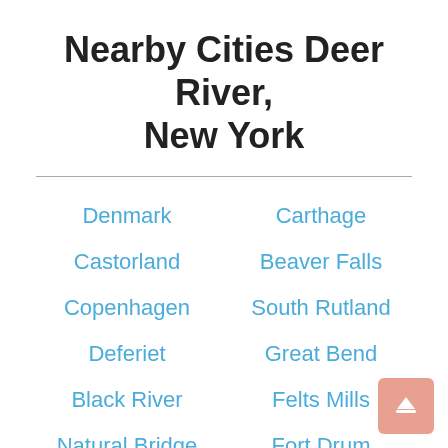Nearby Cities Deer River, New York
Denmark
Carthage
Castorland
Beaver Falls
Copenhagen
South Rutland
Deferiet
Great Bend
Black River
Felts Mills
Natural Bridge
Fort Drum